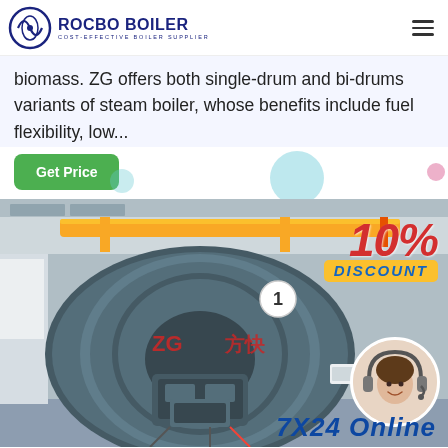ROCBO BOILER — COST-EFFECTIVE BOILER SUPPLIER
biomass. ZG offers both single-drum and bi-drums variants of steam boiler, whose benefits include fuel flexibility, low...
Get Price
[Figure (photo): Industrial steam boiler in a factory setting with yellow piping, showing a circular front-end boiler labeled with Chinese characters and number 1. Overlaid with a 10% DISCOUNT badge (red/yellow) and a customer service representative circle image at bottom right, and '7X24 Online' text partially visible at bottom.]